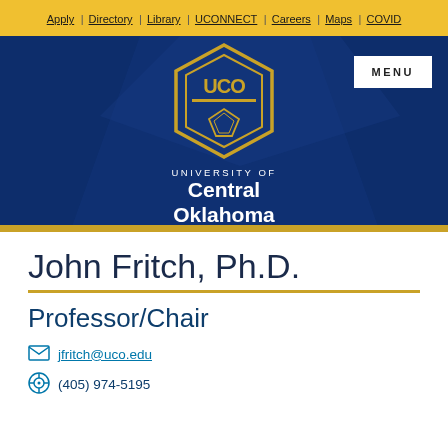Apply | Directory | Library | UCONNECT | Careers | Maps | COVID
[Figure (logo): University of Central Oklahoma (UCO) logo with hexagonal emblem in gold on navy blue background, with MENU button in top right corner]
John Fritch, Ph.D.
Professor/Chair
jfritch@uco.edu
(405) 974-5195